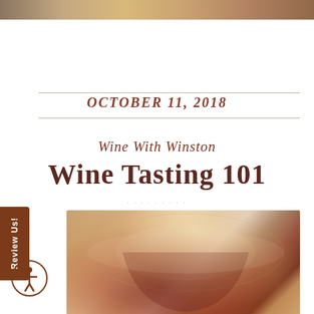[Figure (photo): Top banner photo strip showing food or event imagery in warm tones]
OCTOBER 11, 2018
Wine With Winston
Wine Tasting 101
[Figure (photo): Close-up photo of a wine glass with red wine, showing an etched building/winery logo on the glass]
Review Us!